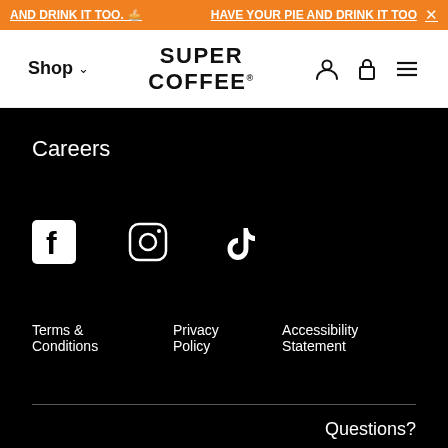AND DRINK IT TOO. 🥧 HAVE YOUR PIE AND DRINK IT TOO X
[Figure (screenshot): Super Coffee navigation bar with Shop dropdown, SUPER COFFEE logo, user icon, cart icon, and hamburger menu]
Careers
[Figure (infographic): Social media icons: Facebook, Instagram, TikTok]
Terms & Conditions   Privacy Policy   Accessibility Statement
Questions?